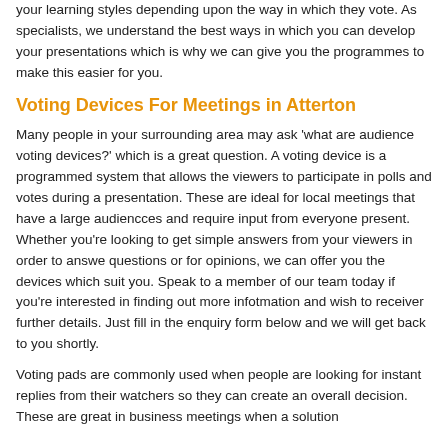your learning styles depending upon the way in which they vote. As specialists, we understand the best ways in which you can develop your presentations which is why we can give you the programmes to make this easier for you.
Voting Devices For Meetings in Atterton
Many people in your surrounding area may ask 'what are audience voting devices?' which is a great question. A voting device is a programmed system that allows the viewers to participate in polls and votes during a presentation. These are ideal for local meetings that have a large audiencces and require input from everyone present. Whether you're looking to get simple answers from your viewers in order to answe questions or for opinions, we can offer you the devices which suit you. Speak to a member of our team today if you're interested in finding out more infotmation and wish to receiver further details. Just fill in the enquiry form below and we will get back to you shortly.
Voting pads are commonly used when people are looking for instant replies from their watchers so they can create an overall decision. These are great in business meetings when a solution